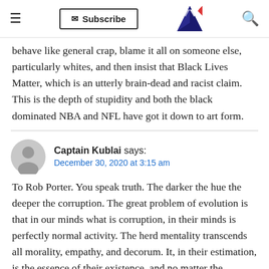Subscribe
behave like general crap, blame it all on someone else, particularly whites, and then insist that Black Lives Matter, which is an utterly brain-dead and racist claim. This is the depth of stupidity and both the black dominated NBA and NFL have got it down to art form.
Captain Kublai says: December 30, 2020 at 3:15 am
To Rob Porter. You speak truth. The darker the hue the deeper the corruption. The great problem of evolution is that in our minds what is corruption, in their minds is perfectly normal activity. The herd mentality transcends all morality, empathy, and decorum. It, in their estimation, is the essence of their existence, and no matter the hardship experienced by them, it always is someone else’s fault. Self sufficiency and